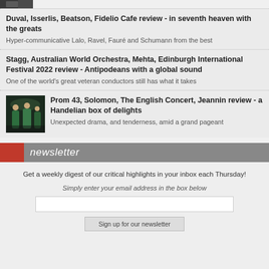[Figure (photo): Small cropped photo at top left, dark/person image]
Duval, Isserlis, Beatson, Fidelio Cafe review - in seventh heaven with the greats
Hyper-communicative Lalo, Ravel, Fauré and Schumann from the best
Stagg, Australian World Orchestra, Mehta, Edinburgh International Festival 2022 review - Antipodeans with a global sound
One of the world's great veteran conductors still has what it takes
[Figure (photo): Concert performance photo with performers in green dresses on stage]
Prom 43, Solomon, The English Concert, Jeannin review - a Handelian box of delights
Unexpected drama, and tenderness, amid a grand pageant
newsletter
Get a weekly digest of our critical highlights in your inbox each Thursday!
Simply enter your email address in the box below